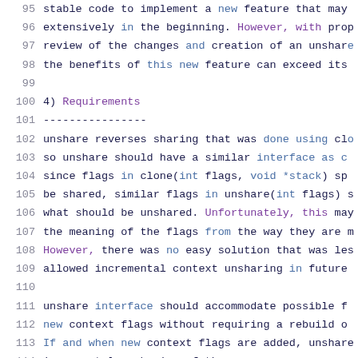95  stable code to implement a new feature that may
96  extensively in the beginning. However, with prop
97  review of the changes and creation of an unshare
98  the benefits of this new feature can exceed its
99
100  4) Requirements
101  ----------------
102  unshare reverses sharing that was done using clone
103  so unshare should have a similar interface as c
104  since flags in clone(int flags, void *stack) sp
105  be shared, similar flags in unshare(int flags) s
106  what should be unshared. Unfortunately, this may
107  the meaning of the flags from the way they are m
108  However, there was no easy solution that was les
109  allowed incremental context unsharing in future
110
111  unshare interface should accommodate possible f
112  new context flags without requiring a rebuild o
113  If and when new context flags are added, unshare
114  incremental unsharing of those resources on an a
115
116  5) Functional Specification